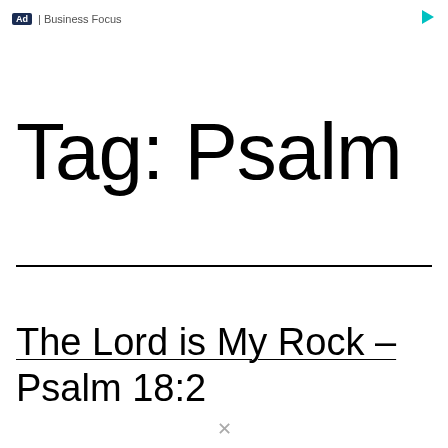Ad | Business Focus
Tag: Psalm
The Lord is My Rock – Psalm 18:2